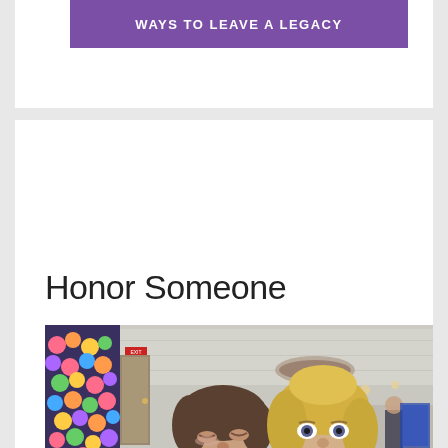WAYS TO LEAVE A LEGACY
Honor Someone
[Figure (photo): Two women hugging and smiling in a banquet hall. Behind them on the left is a colorful wall display of flowers or decorations. The background shows a conference/event room with tables, chairs, and people.]